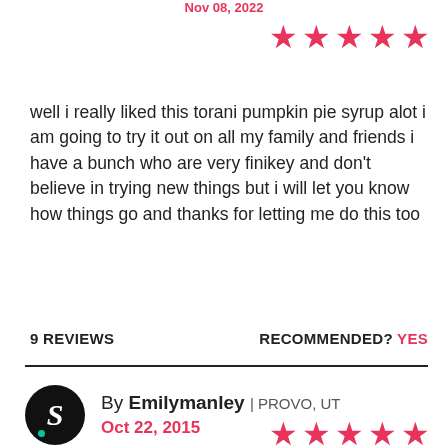Nov 08, 2022
[Figure (other): 5 red stars rating]
well i really liked this torani pumpkin pie syrup alot i am going to try it out on all my family and friends i have a bunch who are very finikey and don't believe in trying new things but i will let you know how things go and thanks for letting me do this too
9 REVIEWS
RECOMMENDED? YES
By Emilymanley | PROVO, UT
Oct 22, 2015
[Figure (other): 5 red stars rating]